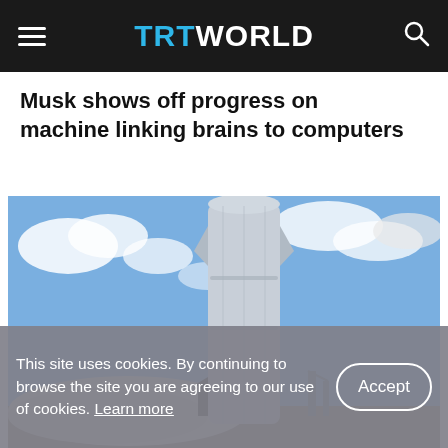TRT WORLD
Musk shows off progress on machine linking brains to computers
[Figure (photo): A tall silver metallic rocket (SpaceX Starship prototype) standing on the ground against a partly cloudy blue sky, with a white tent-like structure and other equipment visible in the background.]
This site uses cookies. By continuing to browse the site you are agreeing to our use of cookies. Learn more